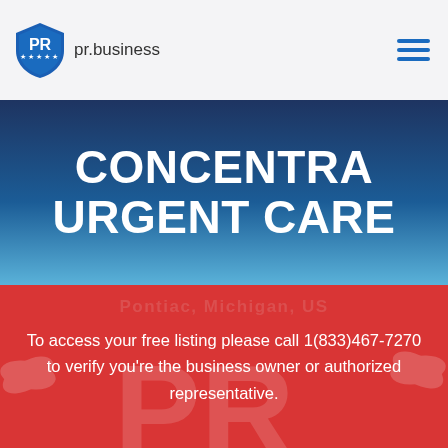pr.business
CONCENTRA URGENT CARE
To access your free listing please call 1(833)467-7270 to verify you're the business owner or authorized representative.